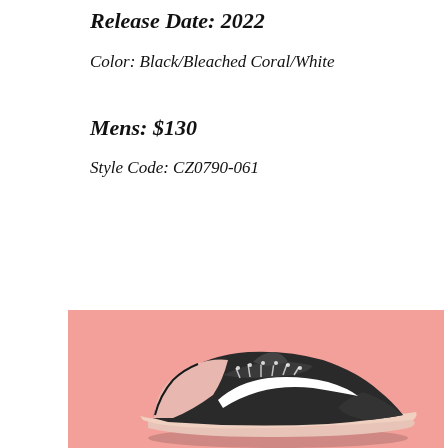Release Date: 2022
Color: Black/Bleached Coral/White
Mens: $130
Style Code: CZ0790-061
[Figure (photo): Nike low-top sneaker in black/bleached coral/white colorway displayed on a pink/salmon background. The shoe features a black mesh upper with a white Nike swoosh and a light pink/coral sole.]